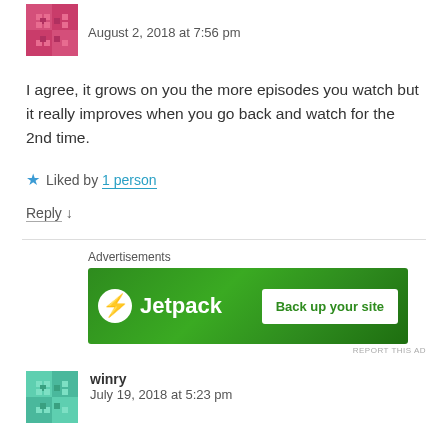August 2, 2018 at 7:56 pm
I agree, it grows on you the more episodes you watch but it really improves when you go back and watch for the 2nd time.
Liked by 1 person
Reply ↓
[Figure (illustration): Jetpack advertisement banner with green background, Jetpack logo and 'Back up your site' button]
REPORT THIS AD
winry
July 19, 2018 at 5:23 pm